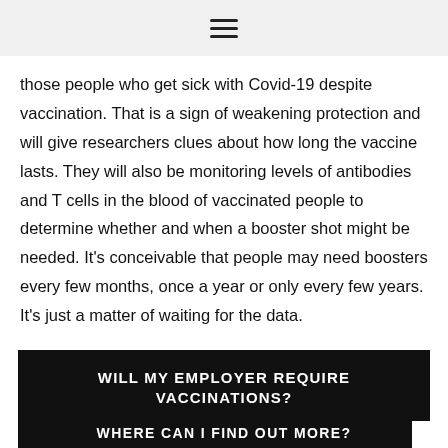≡
those people who get sick with Covid-19 despite vaccination. That is a sign of weakening protection and will give researchers clues about how long the vaccine lasts. They will also be monitoring levels of antibodies and T cells in the blood of vaccinated people to determine whether and when a booster shot might be needed. It's conceivable that people may need boosters every few months, once a year or only every few years. It's just a matter of waiting for the data.
WILL MY EMPLOYER REQUIRE VACCINATIONS?
WHERE CAN I FIND OUT MORE?
“I don’t know how much it can actually protect me,”